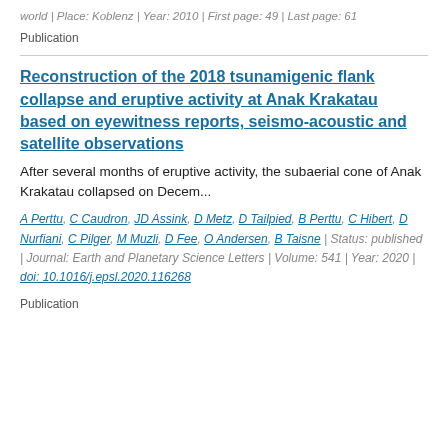world | Place: Koblenz | Year: 2010 | First page: 49 | Last page: 61
Publication
Reconstruction of the 2018 tsunamigenic flank collapse and eruptive activity at Anak Krakatau based on eyewitness reports, seismo-acoustic and satellite observations
After several months of eruptive activity, the subaerial cone of Anak Krakatau collapsed on Decem...
A Perttu, C Caudron, JD Assink, D Metz, D Tailpied, B Perttu, C Hibert, D Nurfiani, C Pilger, M Muzli, D Fee, O Andersen, B Taisne | Status: published | Journal: Earth and Planetary Science Letters | Volume: 541 | Year: 2020 | doi: 10.1016/j.epsl.2020.116268
Publication